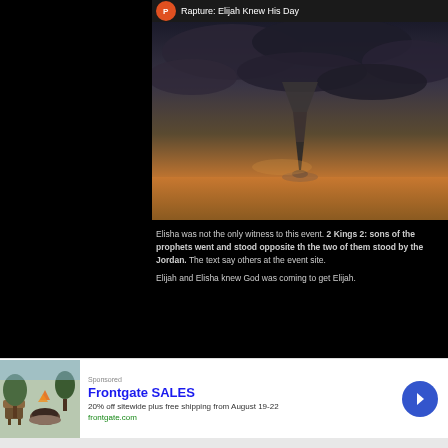[Figure (screenshot): YouTube video thumbnail showing a tornado/whirlwind against a stormy sky with the title 'Rapture: Elijah Knew His Day' and a channel icon. A red YouTube play button overlay is visible in the center.]
Elisha was not the only witness to this event. 2 Kings 2: sons of the prophets went and stood opposite th the two of them stood by the Jordan. The text say others at the event site.
Elijah and Elisha knew God was coming to get Elijah.
[Figure (screenshot): Advertisement banner for Frontgate SALES: '20% off sitewide plus free shipping from August 19-22' from frontgate.com, showing outdoor furniture/fire pit image on the left and a blue arrow button on the right.]